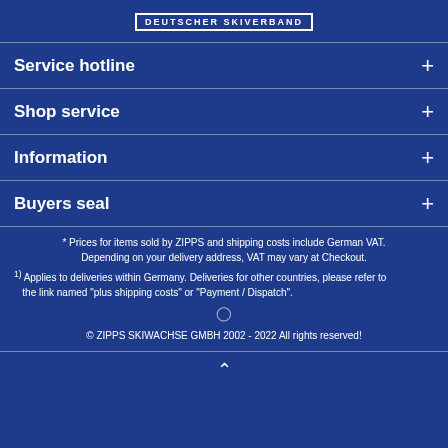[Figure (logo): DSV Deutscher Skiverband logo at top]
Service hotline +
Shop service +
Information +
Buyers seal +
* Prices for items sold by ZIPPS and shipping costs include German VAT. Depending on your delivery address, VAT may vary at Checkout.
1) Applies to deliveries within Germany. Deliveries for other countries, please refer to the link named "plus shipping costs" or "Payment / Dispatch".
© ZIPPS SKIWACHSE GMBH 2002 - 2022 All rights reserved!
^